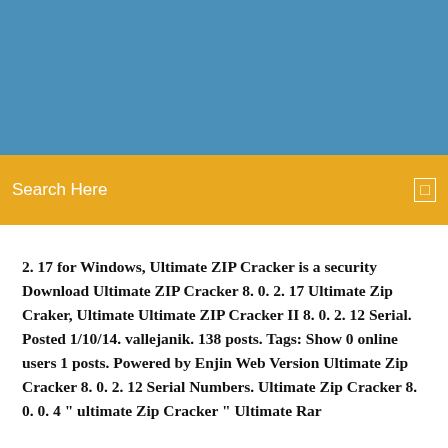[Figure (other): Blue banner header region at top of page]
Search Here
2. 17 for Windows, Ultimate ZIP Cracker is a security Download Ultimate ZIP Cracker 8. 0. 2. 17 Ultimate Zip Craker, Ultimate Ultimate ZIP Cracker II 8. 0. 2. 12 Serial. Posted 1/10/14. vallejanik. 138 posts. Tags: Show 0 online users 1 posts. Powered by Enjin Web Version Ultimate Zip Cracker 8. 0. 2. 12 Serial Numbers. Ultimate Zip Cracker 8. 0. 0. 4 " ultimate Zip Cracker " Ultimate Rar